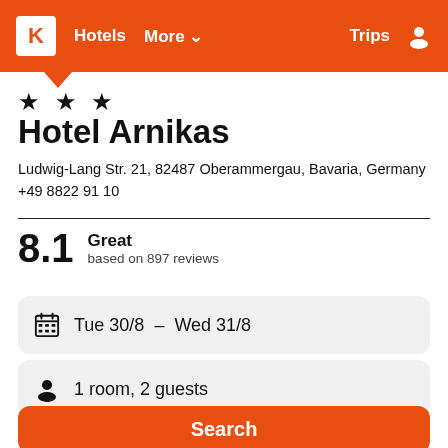K  Hotels  More  Trips
★ ★ ★
Hotel Arnikas
Ludwig-Lang Str. 21, 82487 Oberammergau, Bavaria, Germany
+49 8822 91 10
8.1  Great  based on 897 reviews
Tue 30/8  –  Wed 31/8
1 room, 2 guests
Search